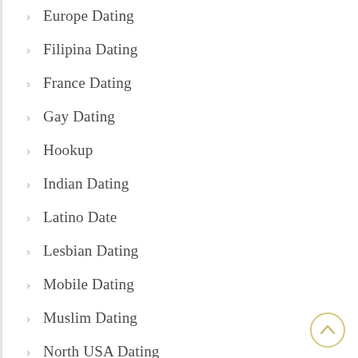Europe Dating
Filipina Dating
France Dating
Gay Dating
Hookup
Indian Dating
Latino Date
Lesbian Dating
Mobile Dating
Muslim Dating
North USA Dating